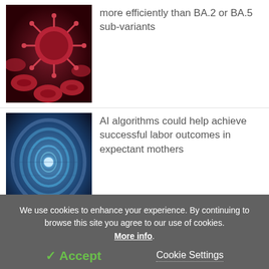[Figure (photo): Microscopic image of red blood cells and a coronavirus particle on dark red background]
more efficiently than BA.2 or BA.5 sub-variants
[Figure (photo): Blue sci-fi tunnel with glowing circular portal or gateway, technology concept]
AI algorithms could help achieve successful labor outcomes in expectant mothers
[Figure (photo): Syringes and numbered wooden blocks on a teal background, COVID-19 vaccine concept]
Study explores differences in the efficiency of COVID-19 vaccine boosters
We use cookies to enhance your experience. By continuing to browse this site you agree to our use of cookies. More info.